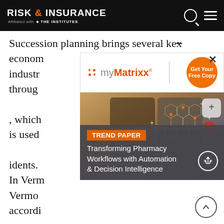RISK & INSURANCE — Affiliated with THE INSTITUTES
Succession planning brings several key economic industry through which is used idents. In Vermont Vermont according.
[Figure (infographic): myMatrixx advertisement with Get Your Free Copy button and Trend Paper overlay titled 'Transforming Pharmacy Workflows with Automation & Decision Intelligence']
There's also a large downside to not implementing succession planning. Failing to do so means vital knowledge and experience is lost.